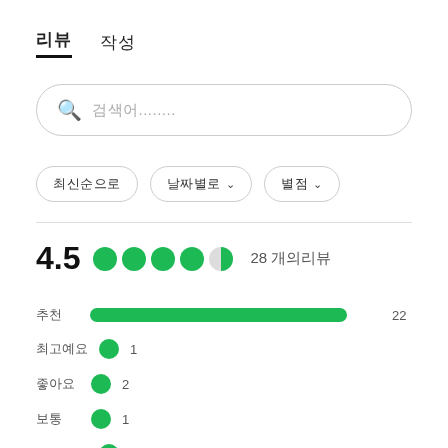리뷰   작성
검색어........
최신순으로   날짜별로 ∨   별점 ∨
4.5 ●●●●◑ 28 개의리뷰
추천  22
최고예요  1
좋아요  2
보통  1
별로예요  2